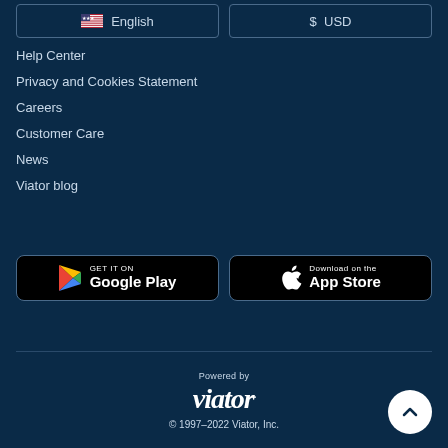[Figure (screenshot): Language selector button showing US flag and 'English' text]
[Figure (screenshot): Currency selector button showing '$ USD']
Help Center
Privacy and Cookies Statement
Careers
Customer Care
News
Viator blog
[Figure (logo): Google Play store badge: GET IT ON Google Play]
[Figure (logo): Apple App Store badge: Download on the App Store]
Powered by
viator.
© 1997–2022 Viator, Inc.